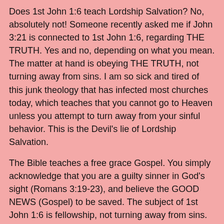Does 1st John 1:6 teach Lordship Salvation? No, absolutely not! Someone recently asked me if John 3:21 is connected to 1st John 1:6, regarding THE TRUTH. Yes and no, depending on what you mean. The matter at hand is obeying THE TRUTH, not turning away from sins. I am so sick and tired of this junk theology that has infected most churches today, which teaches that you cannot go to Heaven unless you attempt to turn away from your sinful behavior. This is the Devil's lie of Lordship Salvation.
The Bible teaches a free grace Gospel. You simply acknowledge that you are a guilty sinner in God's sight (Romans 3:19-23), and believe the GOOD NEWS (Gospel) to be saved. The subject of 1st John 1:6 is fellowship, not turning away from sins. One of my favorite preachers, Pastor Ralph Yankee Arnold preached a helpful sermon on this subject called, "1st John Made Simple: Milk Vs. Meat." Also, here is some helpful Bible commentary from Pastor Max Younce on 1st John 1:6...
A few years ago I attended a Bible conference at a large Bible college in the South. One of the speakers spoke on the "so-called contradiction"